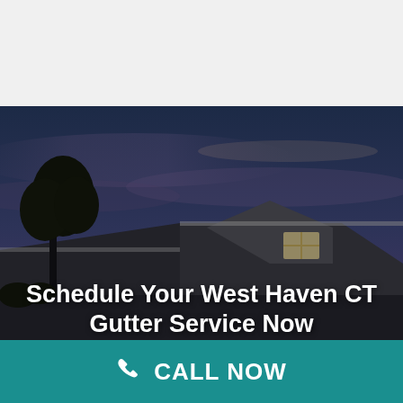[Figure (photo): Nighttime/dusk photo of a house rooftop with dark blue-purple sky and a tree silhouette on the left]
Schedule Your West Haven CT Gutter Service Now
CALL NOW